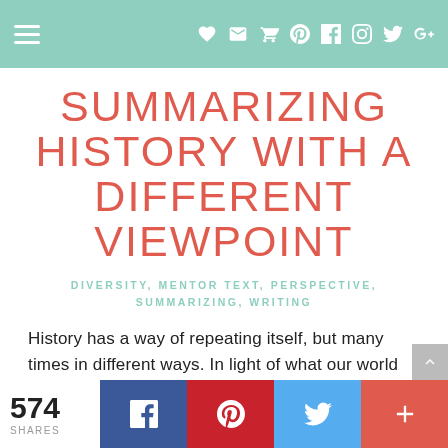Navigation bar with hamburger menu and social icons
SUMMARIZING HISTORY WITH A DIFFERENT VIEWPOINT
DIVERSITY, MENTOR TEXT, PERSPECTIVE, SUMMARIZING, WRITING
History has a way of repeating itself, but many times in different ways. In light of what our world has seen in the past few months, the book Let the Children March by Monica Clark-Robinson allows us to see how
574 SHARES  [Facebook] [Pinterest] [Twitter] [More]